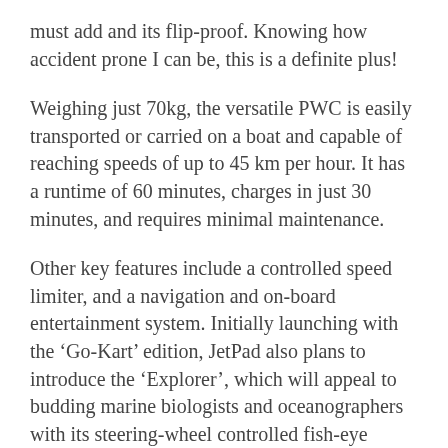must add and its flip-proof. Knowing how accident prone I can be, this is a definite plus!
Weighing just 70kg, the versatile PWC is easily transported or carried on a boat and capable of reaching speeds of up to 45 km per hour. It has a runtime of 60 minutes, charges in just 30 minutes, and requires minimal maintenance.
Other key features include a controlled speed limiter, and a navigation and on-board entertainment system. Initially launching with the ‘Go-Kart’ edition, JetPad also plans to introduce the ‘Explorer’, which will appeal to budding marine biologists and oceanographers with its steering-wheel controlled fish-eye camera.
Alexander tells me that JetPads will be manufactured in the UAE using top quality ConformitéEuropéenne (CE)-approved components on an ISO-certified assembly line. The first units are set to go on sale in May 2012 locally and